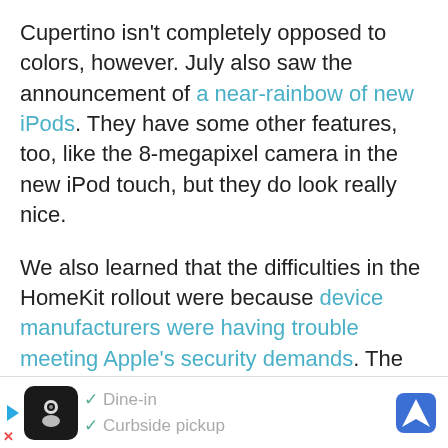Cupertino isn't completely opposed to colors, however. July also saw the announcement of a near-rainbow of new iPods. They have some other features, too, like the 8-megapixel camera in the new iPod touch, but they do look really nice.
We also learned that the difficulties in the HomeKit rollout were because device manufacturers were having trouble meeting Apple's security demands. The company also went ahead and dropped Nest smart thermostats from its store shelves, offering its full support to the HomeKit-friendly ecobee3.
And because that wasn't enough Apple news, it was also time for another super-exciting earnings
[Figure (other): Advertisement banner showing a restaurant with dine-in and curbside pickup options, with a navigation/maps icon on the right.]